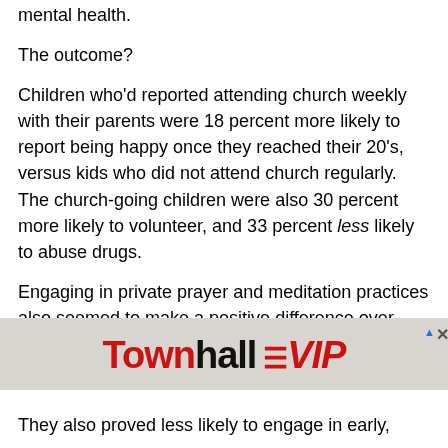mental health.
The outcome?
Children who'd reported attending church weekly with their parents were 18 percent more likely to report being happy once they reached their 20's, versus kids who did not attend church regularly. The church-going children were also 30 percent more likely to volunteer, and 33 percent less likely to abuse drugs.
Engaging in private prayer and meditation practices also seemed to make a positive difference over time. Children who said they regularly prayed and/or meditated reported being children who for
[Figure (screenshot): Townhall VIP advertisement banner with red and black text on a textured background]
They also proved less likely to engage in early,